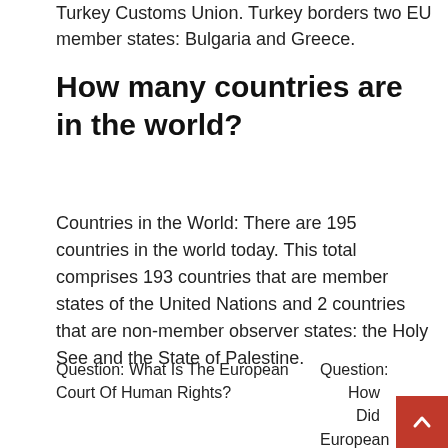Turkey Customs Union. Turkey borders two EU member states: Bulgaria and Greece.
How many countries are in the world?
Countries in the World: There are 195 countries in the world today. This total comprises 193 countries that are member states of the United Nations and 2 countries that are non-member observer states: the Holy See and the State of Palestine.
Question: What Is The European Court Of Human Rights?
Question: How Did European Competition For Colonies Affect Africa